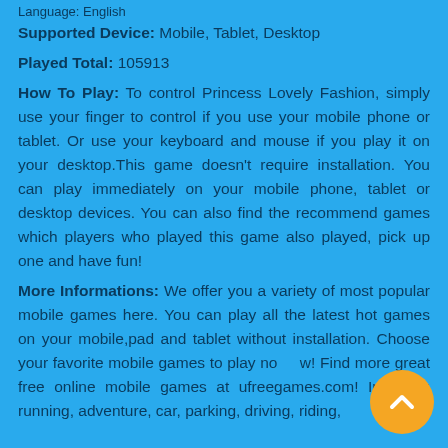Language: English
Supported Device: Mobile, Tablet, Desktop
Played Total: 105913
How To Play: To control Princess Lovely Fashion, simply use your finger to control if you use your mobile phone or tablet. Or use your keyboard and mouse if you play it on your desktop.This game doesn't require installation. You can play immediately on your mobile phone, tablet or desktop devices. You can also find the recommend games which players who played this game also played, pick up one and have fun!
More Informations: We offer you a variety of most popular mobile games here. You can play all the latest hot games on your mobile,pad and tablet without installation. Choose your favorite mobile games to play now! Find more great free online mobile games at ufreegames.com! Including running, adventure, car, parking, driving, riding,